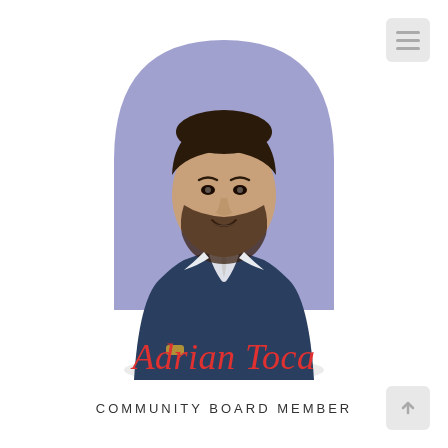[Figure (photo): Profile photo of Adrian Toca, a man in a dark navy blue suit with arms crossed, smiling, against a purple arch-shaped background.]
Adrian Toca
COMMUNITY BOARD MEMBER